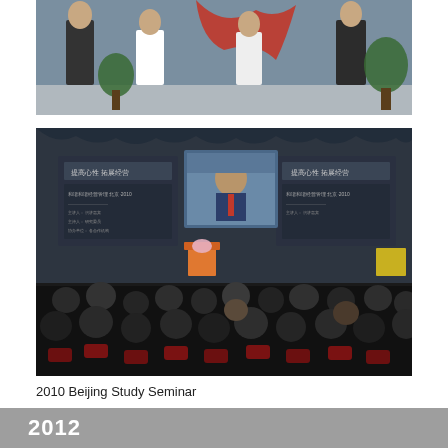[Figure (photo): Group of people on stage at a ceremony, with plants and a blue backdrop. A woman in red and men in suits appear to be at a ribbon-cutting or award event.]
[Figure (photo): Conference hall with audience seated from behind, facing a stage with a large projected screen showing a speaker, and Chinese text banners on either side. Orange podium at center. 2010 Beijing Study Seminar.]
2010 Beijing Study Seminar
2012
English version of the “Seiwajyuku Journal” published (19 issues total)